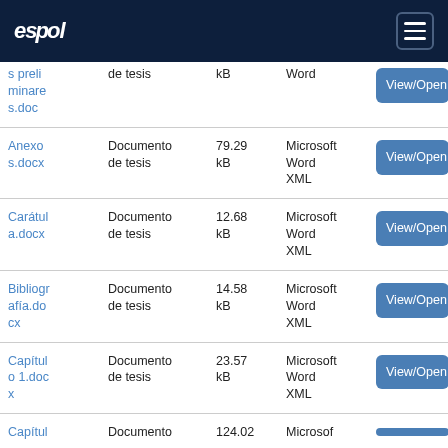espol [hamburger menu]
| Archivo | Descripción | Tamaño | Formato |  |
| --- | --- | --- | --- | --- |
| s preliminares.doc | Documento de tesis | kB | Word | View/Open |
| Anexos.docx | Documento de tesis | 79.29 kB | Microsoft Word XML | View/Open |
| Carátula.docx | Documento de tesis | 12.68 kB | Microsoft Word XML | View/Open |
| Bibliografía.docx | Documento de tesis | 14.58 kB | Microsoft Word XML | View/Open |
| Capítulo 1.docx | Documento de tesis | 23.57 kB | Microsoft Word XML | View/Open |
| Capítul... | Documento... | 134.02... | Microsof... | View/Open |